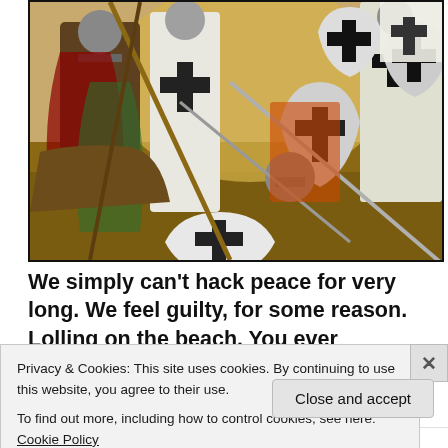[Figure (illustration): Painting/illustration of medieval crusader battle scene with knights in armor, white surcoats with black crosses on shields and garments, swords drawn, engaged in combat]
We simply can't hack peace for very long. We feel guilty, for some reason. Lolling on the beach. You ever
Privacy & Cookies: This site uses cookies. By continuing to use this website, you agree to their use.
To find out more, including how to control cookies, see here: Cookie Policy
Close and accept